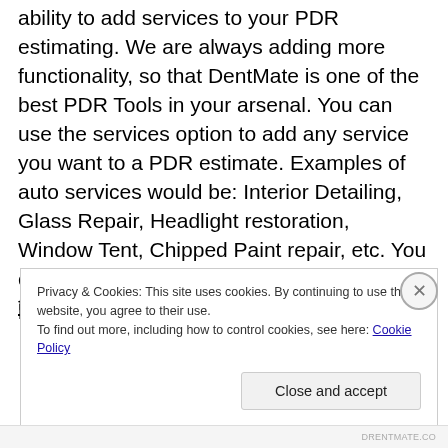ability to add services to your PDR estimating. We are always adding more functionality, so that DentMate is one of the best PDR Tools in your arsenal. You can use the services option to add any service you want to a PDR estimate. Examples of auto services would be: Interior Detailing, Glass Repair, Headlight restoration, Window Tent, Chipped Paint repair, etc. You can create your own custom services and pricing for each. Check out this video on the DentMate PDR estimating and...
Privacy & Cookies: This site uses cookies. By continuing to use this website, you agree to their use.
To find out more, including how to control cookies, see here: Cookie Policy
Close and accept